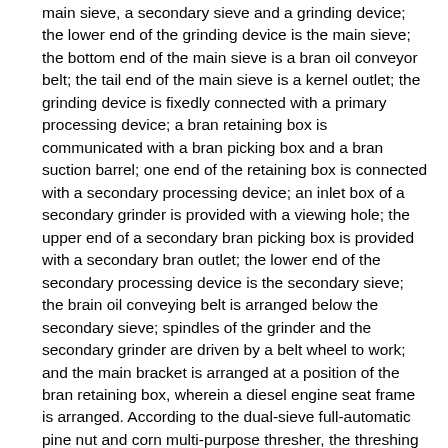main sieve, a secondary sieve and a grinding device; the lower end of the grinding device is the main sieve; the bottom end of the main sieve is a bran oil conveyor belt; the tail end of the main sieve is a kernel outlet; the grinding device is fixedly connected with a primary processing device; a bran retaining box is communicated with a bran picking box and a bran suction barrel; one end of the retaining box is connected with a secondary processing device; an inlet box of a secondary grinder is provided with a viewing hole; the upper end of a secondary bran picking box is provided with a secondary bran outlet; the lower end of the secondary processing device is the secondary sieve; the brain oil conveying belt is arranged below the secondary sieve; spindles of the grinder and the secondary grinder are driven by a belt wheel to work; and the main bracket is arranged at a position of the bran retaining box, wherein a diesel engine seat frame is arranged. According to the dual-sieve full-automatic pine nut and corn multi-purpose thresher, the threshing of pine nuts and corns can be realized; and the repeated labor of manually picking bran, picking kernels and beating twice during threshing of pine nuts are omitted by the secondary treatment, and the labor intensity of workers is reduced.